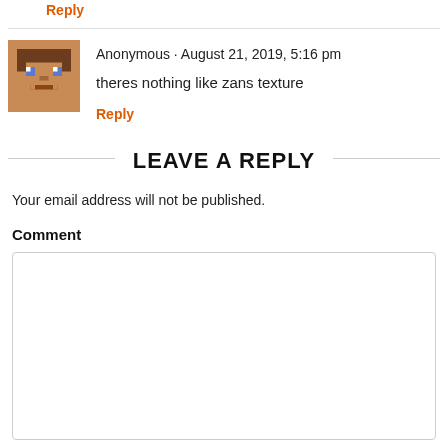Reply
[Figure (illustration): Minecraft Steve avatar pixelated face]
Anonymous · August 21, 2019, 5:16 pm
theres nothing like zans texture
Reply
LEAVE A REPLY
Your email address will not be published.
Comment
[Figure (other): Empty comment text area input box]